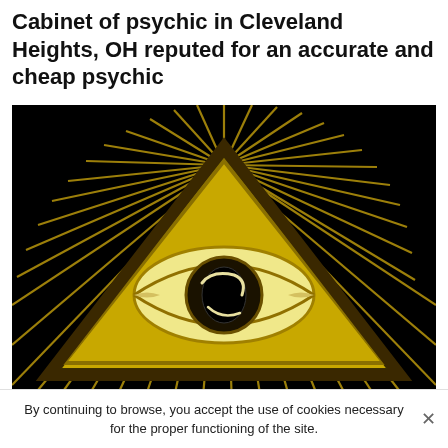Cabinet of psychic in Cleveland Heights, OH reputed for an accurate and cheap psychic
[Figure (illustration): Gold and black illuminati all-seeing eye pyramid symbol with radiating rays on a dark background]
By continuing to browse, you accept the use of cookies necessary for the proper functioning of the site.